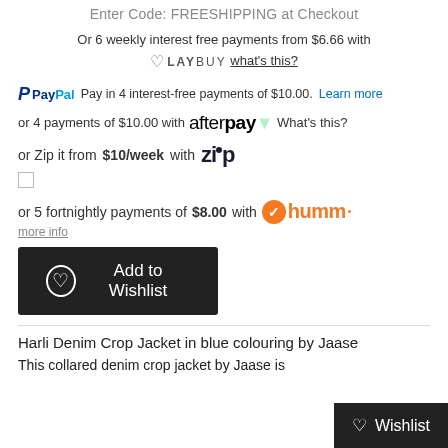Enter Code: FREESHIPPING at Checkout
Or 6 weekly interest free payments from $6.66 with Laybuy what's this?
PayPal Pay in 4 interest-free payments of $10.00. Learn more
or 4 payments of $10.00 with Afterpay What's this?
or Zip it from $10/week with Zip
or 5 fortnightly payments of $8.00 with humm
more info
Add to Wishlist
Harli Denim Crop Jacket in blue colouring by Jaase
This collared denim crop jacket by Jaase is
Wishlist